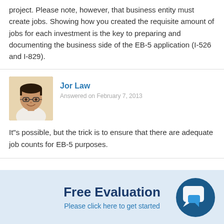project. Please note, however, that business entity must create jobs. Showing how you created the requisite amount of jobs for each investment is the key to preparing and documenting the business side of the EB-5 application (I-526 and I-829).
Jor Law
Answered on February 7, 2013
It"s possible, but the trick is to ensure that there are adequate job counts for EB-5 purposes.
Free Evaluation
Please click here to get started